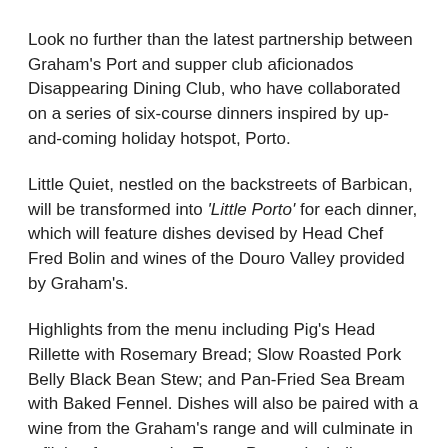Look no further than the latest partnership between Graham's Port and supper club aficionados Disappearing Dining Club, who have collaborated on a series of six-course dinners inspired by up-and-coming holiday hotspot, Porto.
Little Quiet, nestled on the backstreets of Barbican, will be transformed into 'Little Porto' for each dinner, which will feature dishes devised by Head Chef Fred Bolin and wines of the Douro Valley provided by Graham's.
Highlights from the menu including Pig's Head Rillette with Rosemary Bread; Slow Roasted Pork Belly Black Bean Stew; and Pan-Fried Sea Bream with Baked Fennel. Dishes will also be paired with a wine from the Graham's range and will culminate in a flight of spectacular Tawny Ports – including a wine almost a quarter of a century old.